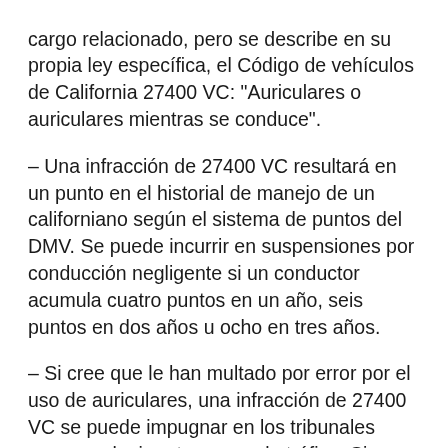cargo relacionado, pero se describe en su propia ley específica, el Código de vehículos de California 27400 VC: "Auriculares o auriculares mientras se conduce".
– Una infracción de 27400 VC resultará en un punto en el historial de manejo de un californiano según el sistema de puntos del DMV. Se puede incurrir en suspensiones por conducción negligente si un conductor acumula cuatro puntos en un año, seis puntos en dos años u ocho en tres años.
– Si cree que le han multado por error por el uso de auriculares, una infracción de 27400 VC se puede impugnar en los tribunales como cualquier otro cargo de tráfico. Sin embargo, simplemente ignorar la multa podría dar lugar a un cargo más grave por falta de comparecencia.
– Si has estado herido por un conductor que usa auriculares, usted puede tener derecho a daños significativos.